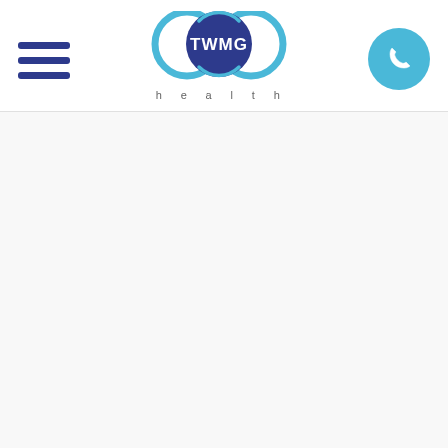[Figure (logo): TWMG Health logo: three interlocking circles (two cyan/light blue rings and one dark navy blue filled circle in the center with white text TWMG) with the word 'health' in spaced gray letters below, hamburger menu icon on the left, phone icon button on the right]